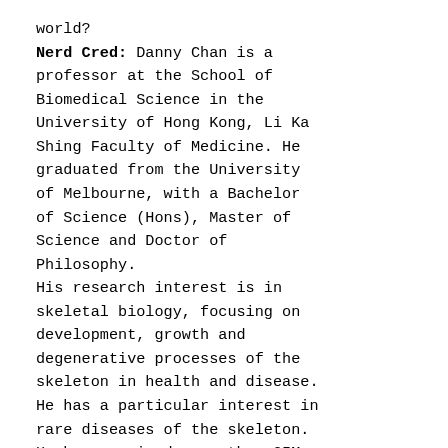world?
Nerd Cred: Danny Chan is a professor at the School of Biomedical Science in the University of Hong Kong, Li Ka Shing Faculty of Medicine. He graduated from the University of Melbourne, with a Bachelor of Science (Hons), Master of Science and Doctor of Philosophy.
His research interest is in skeletal biology, focusing on development, growth and degenerative processes of the skeleton in health and disease. He has a particular interest in rare diseases of the skeleton. He has received more than 25M HKD of research funding as